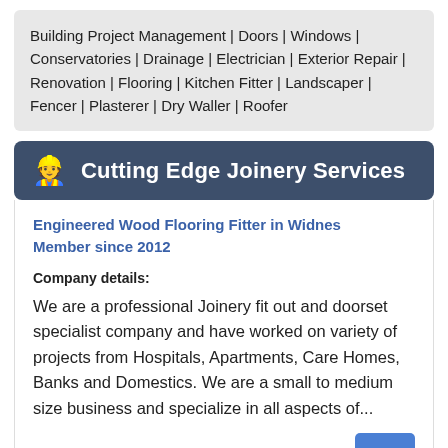Building Project Management | Doors | Windows | Conservatories | Drainage | Electrician | Exterior Repair | Renovation | Flooring | Kitchen Fitter | Landscaper | Fencer | Plasterer | Dry Waller | Roofer
Cutting Edge Joinery Services
Engineered Wood Flooring Fitter in Widnes
Member since 2012
Company details:
We are a professional Joinery fit out and doorset specialist company and have worked on variety of projects from Hospitals, Apartments, Care Homes, Banks and Domestics. We are a small to medium size business and specialize in all aspects of...